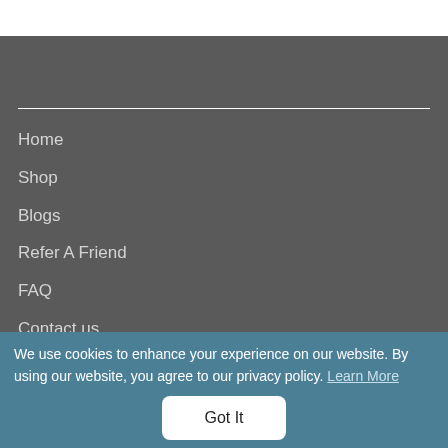Home
Shop
Blogs
Refer A Friend
FAQ
Contact us
We use cookies to enhance your experience on our website. By using our website, you agree to our privacy policy. Learn More
Got It